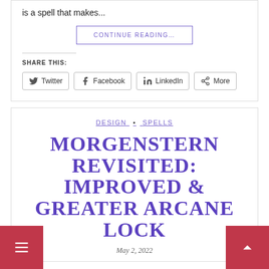is a spell that makes...
CONTINUE READING…
SHARE THIS:
Twitter
Facebook
LinkedIn
More
DESIGN • SPELLS
MORGENSTERN REVISITED: IMPROVED & GREATER ARCANE LOCK
May 2, 2022